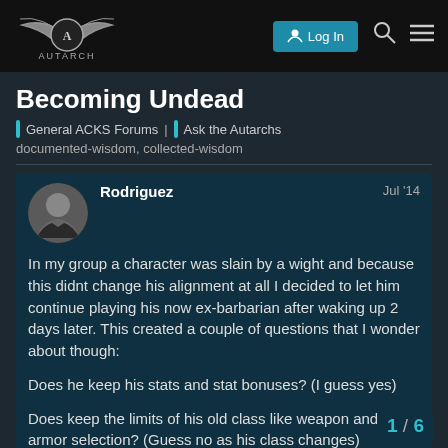AUTARCH — Log In
Becoming Undead
General ACKS Forums | Ask the Autarchs
documented-wisdom, collected-wisdom
Rodriguez  Jul '14
In my group a character was slain by a wight and because this didnt change his alignment at all I decided to let him continue playing his now ex-barbarian after waking up 2 days later. This created a couple of questions that I wonder about though:
Does he keep his stats and stat bonuses? (I guess yes)
Does keep the limits of his old class like weapon and armor selection? (Guess no as his class changes)
Does he keep his proficiencies? (Hard to s climbing and ambushing so I don't mind if
1 / 6